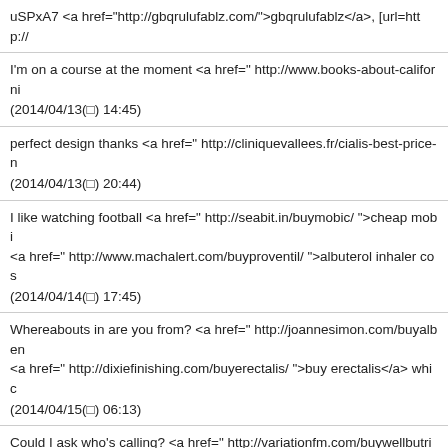uSPxA7 <a href="http://gbqrulufablz.com/">gbqrulufablz</a>, [url=http://...
I'm on a course at the moment <a href=" http://www.books-about-californi... (2014/04/13(日) 14:45)
perfect design thanks <a href=" http://cliniquevallees.fr/cialis-best-price-n... (2014/04/13(日) 20:44)
I like watching football <a href=" http://seabit.in/buymobic/ ">cheap mobi... <a href=" http://www.machalert.com/buyproventil/ ">albuterol inhaler cos... (2014/04/14(日) 17:45)
Whereabouts in are you from? <a href=" http://joannesimon.com/buyalben... <a href=" http://dixiefinishing.com/buyerectalis/ ">buy erectalis</a> whic... (2014/04/15(日) 06:13)
Could I ask who's calling? <a href=" http://variationfm.com/buywellbutrin... <a href=" http://dixiefinishing.com/buyerectalis/ ">buy erectalis</a> speci... (2014/04/15(日) 06:13)
Who would I report to? <a href=" http://beechwooddental.ie/viagra-pills-fo... (2014/04/15(日) 10:34)
A staff restaurant <a href=" http://www.penguinworld.com/profpenguin/ "... (2014/04/15(日) 11:59)
, <a href="http://XN--JP-OG4AXAG2FVHMI9CC.COM/">日本語文字列...</a>